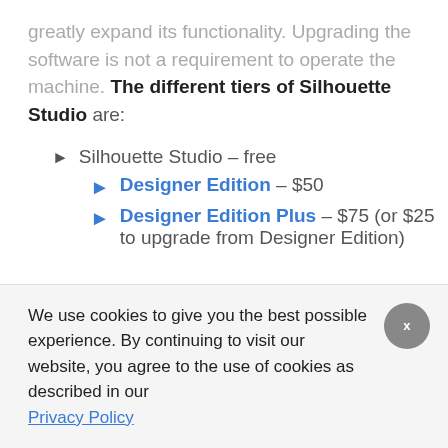greatly expand its functionality. Upgrading the software is not a requirement to operate the machine. The different tiers of Silhouette Studio are:
Silhouette Studio – free
Designer Edition – $50
Designer Edition Plus – $75 (or $25 to upgrade from Designer Edition)
We use cookies to give you the best possible experience. By continuing to visit our website, you agree to the use of cookies as described in our Privacy Policy